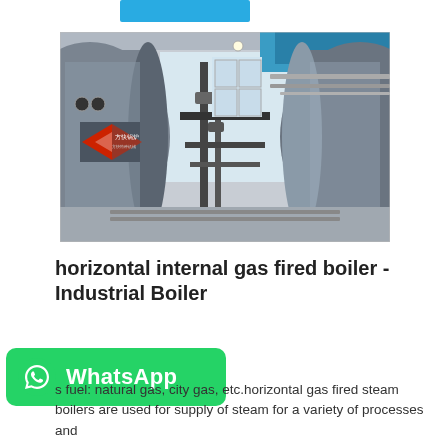[Figure (photo): Two large horizontal industrial gas fired boilers in a factory building. The boilers are metallic/silver cylinders. One boiler on the left has a red and white logo (方快锅炉). Pipes and fittings connect the boilers. Windows and blue ceiling structures are visible in the background.]
horizontal internal gas fired boiler - Industrial Boiler
[Figure (logo): WhatsApp button - green rounded rectangle with WhatsApp phone icon and text 'WhatsApp']
s fuel: natural gas, city gas, etc.horizontal gas fired steam boilers are used for supply of steam for a variety of processes and